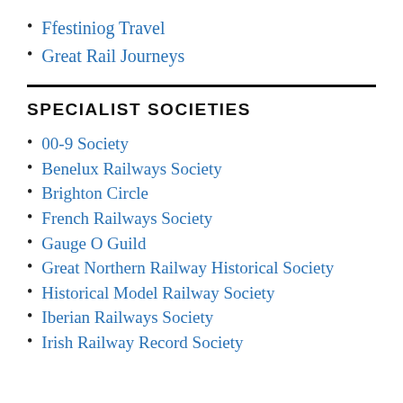Ffestiniog Travel
Great Rail Journeys
SPECIALIST SOCIETIES
00-9 Society
Benelux Railways Society
Brighton Circle
French Railways Society
Gauge O Guild
Great Northern Railway Historical Society
Historical Model Railway Society
Iberian Railways Society
Irish Railway Record Society